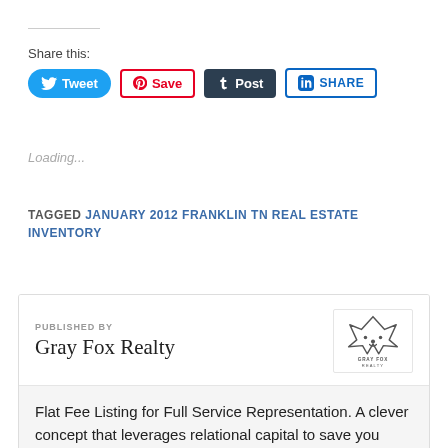Share this:
[Figure (screenshot): Social sharing buttons: Tweet (Twitter, blue), Save (Pinterest, red), Post (Tumblr, dark), SHARE (LinkedIn, blue outline)]
Loading...
TAGGED JANUARY 2012 FRANKLIN TN REAL ESTATE INVENTORY
[Figure (logo): Gray Fox Realty logo - fox head outline with text GRAY FOX REALTY below]
PUBLISHED BY
Gray Fox Realty
Flat Fee Listing for Full Service Representation. A clever concept that leverages relational capital to save you money when selling your